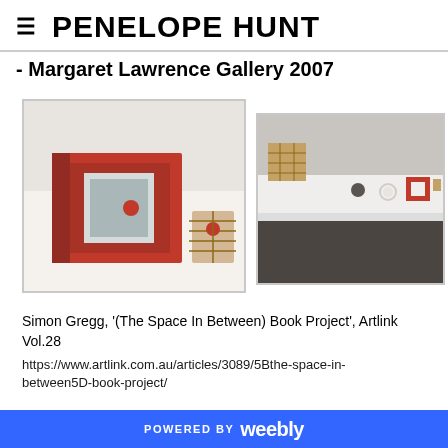PENELOPE HUNT
- Margaret Lawrence Gallery 2007
[Figure (photo): Two gallery installation photos side by side: left photo shows a red book artwork and a bundled paper/twine object on a white surface; right photo shows a white shelf with small art objects including what appears to be a small cabinet/grid structure, a dark round object, a light ring, and a small red framed piece.]
Simon Gregg, '(The Space In Between) Book Project', Artlink Vol.28
https://www.artlink.com.au/articles/3089/5Bthe-space-in-between5D-book-project/
POWERED BY weebly